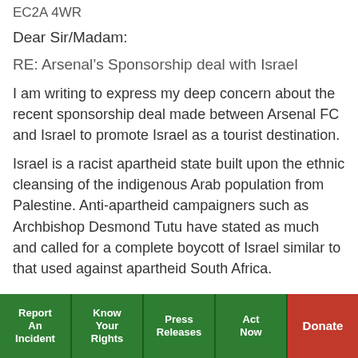EC2A 4WR
Dear Sir/Madam:
RE: Arsenal’s Sponsorship deal with Israel
I am writing to express my deep concern about the recent sponsorship deal made between Arsenal FC and Israel to promote Israel as a tourist destination.
Israel is a racist apartheid state built upon the ethnic cleansing of the indigenous Arab population from Palestine. Anti-apartheid campaigners such as Archbishop Desmond Tutu have stated as much and called for a complete boycott of Israel similar to that used against apartheid South Africa.
Report An Incident | Know Your Rights | Press Releases | Act Now | Donate